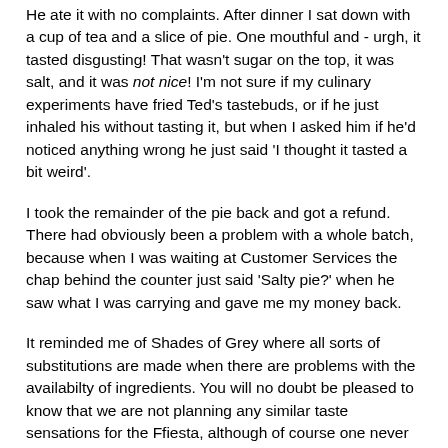He ate it with no complaints.  After dinner I sat down with a cup of tea and a slice of pie.  One mouthful and - urgh, it tasted disgusting!  That wasn't sugar on the top, it was salt, and it was not nice!  I'm not sure if my culinary experiments have fried Ted's tastebuds, or if he just inhaled his without tasting it, but when I asked him if he'd noticed anything wrong he just said 'I thought it tasted a bit weird'.
I took the remainder of the pie back and got a refund.  There had obviously been a problem with a whole batch, because when I was waiting at Customer Services the chap behind the counter just said 'Salty pie?' when he saw what I was carrying and gave me my money back.
It reminded me of Shades of Grey where all sorts of substitutions are made when there are problems with the availabilty of ingredients.  You will no doubt be pleased to know that we are not planning any similar taste sensations for the Ffiesta, although of course one never knows what unlikely sounding combination of foodstuffs will taste good - cheese and pineapple, pork and applesauce, peanut butter and jam (jolly), prunos and bacon, raspborry, papava and